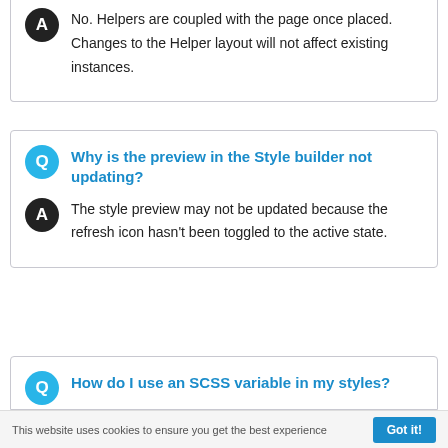No. Helpers are coupled with the page once placed. Changes to the Helper layout will not affect existing instances.
Why is the preview in the Style builder not updating?
The style preview may not be updated because the refresh icon hasn't been toggled to the active state.
How do I use an SCSS variable in my styles?
This website uses cookies to ensure you get the best experience